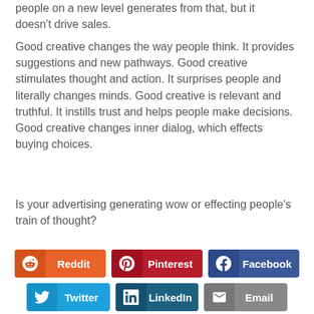people on a new level generates from that, but it doesn't drive sales.
Good creative changes the way people think. It provides suggestions and new pathways. Good creative stimulates thought and action. It surprises people and literally changes minds. Good creative is relevant and truthful. It instills trust and helps people make decisions. Good creative changes inner dialog, which effects buying choices.
Is your advertising generating wow or effecting people's train of thought?
[Figure (infographic): Social media sharing buttons: Reddit, Pinterest, Facebook (top row); Twitter, LinkedIn, Email (bottom row)]